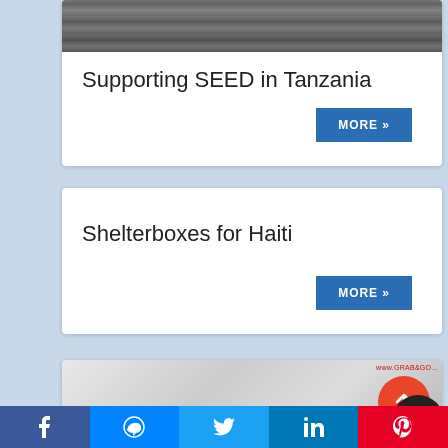[Figure (photo): Partial photo at top of card showing dark background, possibly people or animals]
Supporting SEED in Tanzania
MORE »
Shelterboxes for Haiti
MORE »
[Figure (photo): Partial photo at bottom showing people at a display stand, with a red watermark in corner]
f  [messenger]  [twitter]  in  [pinterest]  [toggle]